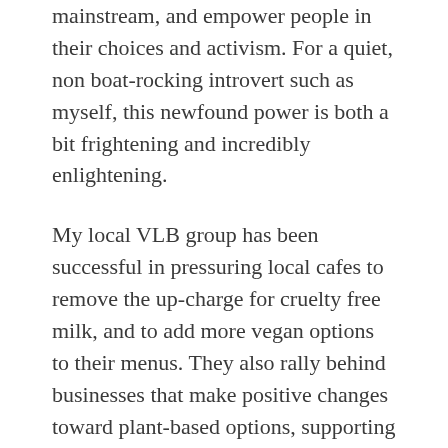mainstream, and empower people in their choices and activism. For a quiet, non boat-rocking introvert such as myself, this newfound power is both a bit frightening and incredibly enlightening.
My local VLB group has been successful in pressuring local cafes to remove the up-charge for cruelty free milk, and to add more vegan options to their menus. They also rally behind businesses that make positive changes toward plant-based options, supporting them in person as well as on Yelp and social media. The VLBs show on a local scale the power of combining forces behind a cause, and the power we all have as concerned consumers and citizens.
I don't expect everyone in the world to immediately go vegan. It's not always practical, or available, depending